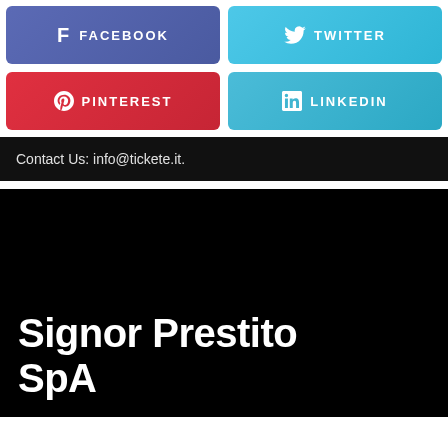[Figure (infographic): Social media share buttons: Facebook (purple), Twitter (light blue), Pinterest (red), LinkedIn (light blue)]
Contact Us: info@tickete.it.
Signor Prestito SpA